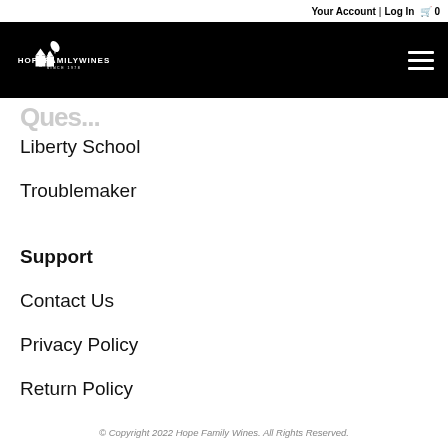Your Account | Log In  🛒 0
[Figure (logo): Hope Family Wines logo - white text and graphic on black background, showing 'HOPEFAMILYWINES SINCE 1978']
Ques... (partially visible, cut off)
Liberty School
Troublemaker
Support
Contact Us
Privacy Policy
Return Policy
© Copyright 2022 Hope Family Wines. All Rights Reserved.